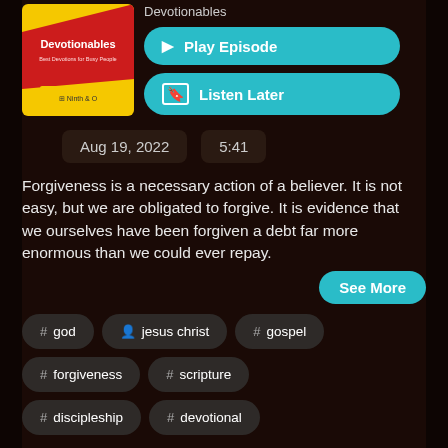[Figure (logo): Devotionables podcast cover art - red and yellow background with text 'Devotionables Best Devotions for Busy People' and Ninth & O logo]
Devotionables
Play Episode
Listen Later
Aug 19, 2022   5:41
Forgiveness is a necessary action of a believer. It is not easy, but we are obligated to forgive. It is evidence that we ourselves have been forgiven a debt far more enormous than we could ever repay.
See More
# god
jesus christ
# gospel
# forgiveness
# scripture
# discipleship
# devotional